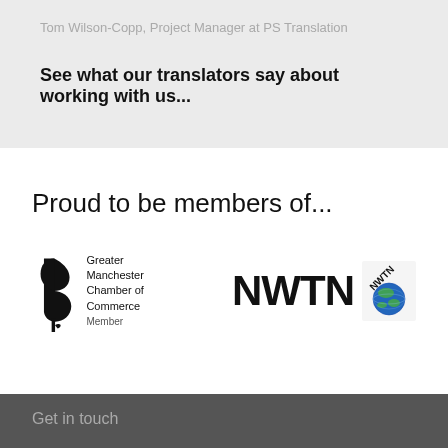Tom Wilson-Copp, Project Manager at PS Translation
See what our translators say about working with us...
Proud to be members of...
[Figure (logo): Greater Manchester Chamber of Commerce Member logo with stylized B leaf icon]
[Figure (logo): NWTN logo with globe icon and diagonal NWTN text]
Get in touch